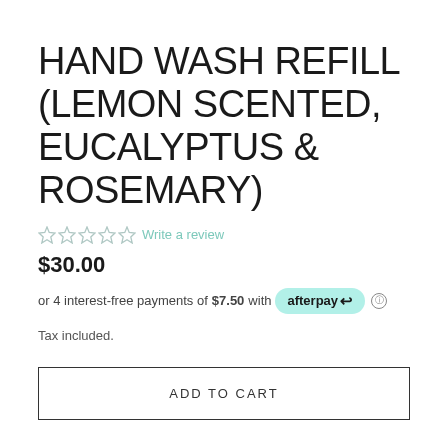HAND WASH REFILL (LEMON SCENTED, EUCALYPTUS & ROSEMARY)
☆☆☆☆☆ Write a review
$30.00
or 4 interest-free payments of $7.50 with afterpay ⓘ
Tax included.
ADD TO CART